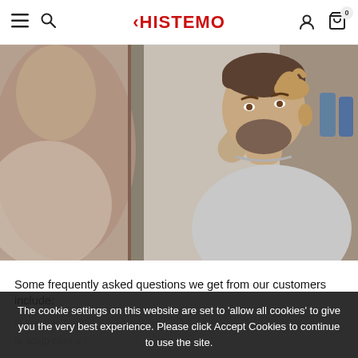HISTEMO
[Figure (photo): Man with beard in gray t-shirt looking at his hair in a bathroom mirror, with his reflection visible]
Some frequently asked questions we get from our customers include:
The cookie settings on this website are set to 'allow all cookies' to give you the very best experience. Please click Accept Cookies to continue to use the site.
Is special treatment for scalp problems necessary?
Is scalp care a thing? What to do if scalp has problems?